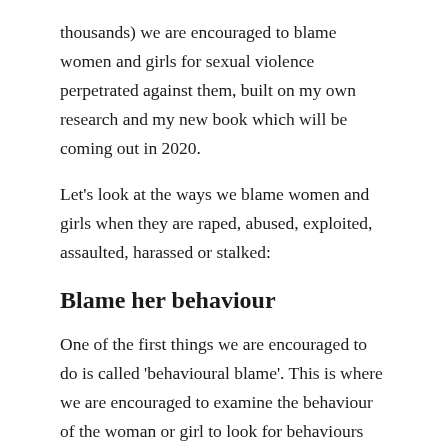thousands) we are encouraged to blame women and girls for sexual violence perpetrated against them, built on my own research and my new book which will be coming out in 2020.
Let's look at the ways we blame women and girls when they are raped, abused, exploited, assaulted, harassed or stalked:
Blame her behaviour
One of the first things we are encouraged to do is called 'behavioural blame'. This is where we are encouraged to examine the behaviour of the woman or girl to look for behaviours that might have 'led' to being raped or abused.